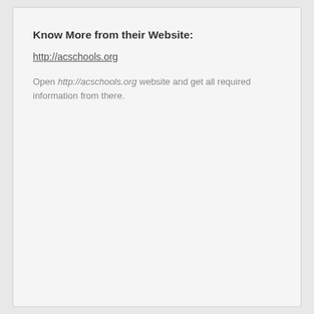Know More from their Website:
http://acschools.org
Open http://acschools.org website and get all required information from there.